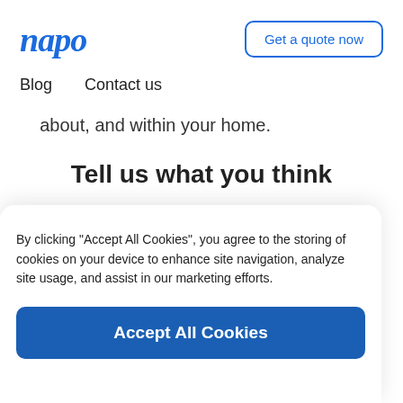[Figure (logo): napo logo in blue italic script]
Get a quote now
Blog  Contact us
about, and within your home.
Tell us what you think
If you have…
By clicking "Accept All Cookies", you agree to the storing of cookies on your device to enhance site navigation, analyze site usage, and assist in our marketing efforts.
Accept All Cookies